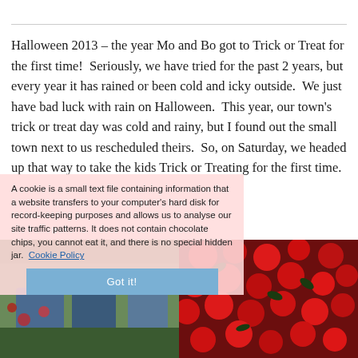Halloween 2013 – the year Mo and Bo got to Trick or Treat for the first time!  Seriously, we have tried for the past 2 years, but every year it has rained or been cold and icky outside.  We just have bad luck with rain on Halloween.  This year, our town's trick or treat day was cold and rainy, but I found out the small town next to us rescheduled theirs.  So, on Saturday, we headed up that way to take the kids Trick or Treating for the first time.
[Figure (photo): Left photo: children in Halloween costumes outdoors, green/blue colors visible]
[Figure (photo): Right photo: cluster of red flowers or decorations, dark red/crimson colors]
A cookie is a small text file containing information that a website transfers to your computer's hard disk for record-keeping purposes and allows us to analyse our site traffic patterns. It does not contain chocolate chips, you cannot eat it, and there is no special hidden jar. Cookie Policy
Got it!